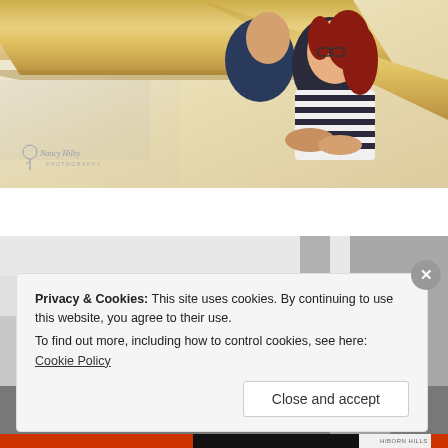[Figure (photo): Couple posed under wooden deck/pier structure. Man in navy polo shirt, woman with red hair in striped navy/white shirt. Diagonal wooden beams frame the shot. Watermark: Nancy Hilby Photography.]
[Figure (photo): Black and white photo of children (top of heads visible) under a structure. Partially obscured by cookie consent banner.]
Privacy & Cookies: This site uses cookies. By continuing to use this website, you agree to their use.
To find out more, including how to control cookies, see here: Cookie Policy
Close and accept